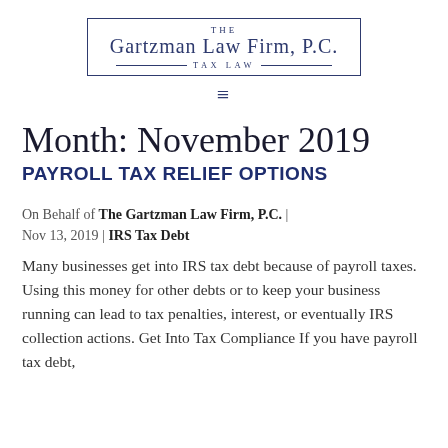[Figure (logo): The Gartzman Law Firm, P.C. Tax Law logo with bordered box and horizontal rules]
Month: November 2019
PAYROLL TAX RELIEF OPTIONS
On Behalf of The Gartzman Law Firm, P.C. | Nov 13, 2019 | IRS Tax Debt
Many businesses get into IRS tax debt because of payroll taxes. Using this money for other debts or to keep your business running can lead to tax penalties, interest, or eventually IRS collection actions. Get Into Tax Compliance If you have payroll tax debt,